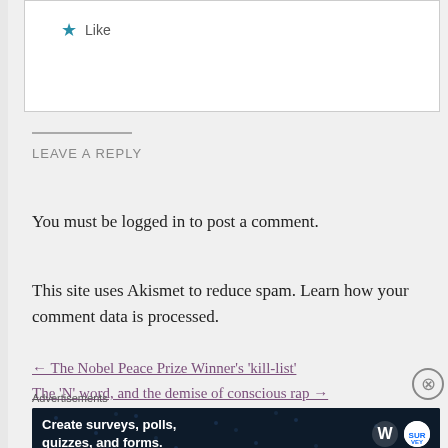★ Like
LEAVE A REPLY
You must be logged in to post a comment.
This site uses Akismet to reduce spam. Learn how your comment data is processed.
← The Nobel Peace Prize Winner's 'kill-list'
The 'N' word, and the demise of conscious rap →
Advertisements
[Figure (screenshot): Advertisement banner for WordPress survey tool: 'Create surveys, polls, quizzes, and forms.' with WordPress and survey logos on dark blue background with dots pattern.]